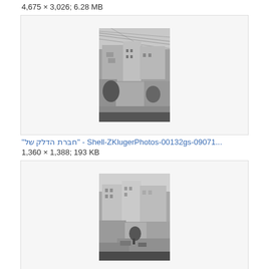4,675 × 3,026; 6.28 MB
[Figure (photo): Black and white historical photograph of buildings and street scene with power lines overhead, centered in a light gray bordered box]
"חברת הדלק של" - Shell-ZKlugerPhotos-00132gs-09071...
1,360 × 1,388; 193 KB
[Figure (photo): Black and white historical photograph of an urban street intersection with buildings and vehicles, centered in a light gray bordered box]
"חברת הדלק של" - Shell-ZKlugerPhotos-00132gs-09071...
1,360 × 1,388; 216 KB